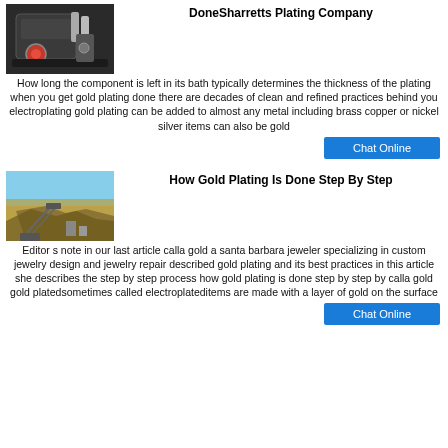DoneSharretts Plating Company
[Figure (photo): Industrial plating/mining machinery with orange and black components]
How long the component is left in its bath typically determines the thickness of the plating when you get gold plating done there are decades of clean and refined practices behind you electroplating gold plating can be added to almost any metal including brass copper or nickel silver items can also be gold
Chat Online
How Gold Plating Is Done Step By Step
[Figure (photo): Outdoor quarry or mining site with industrial conveyor equipment on a hillside under blue sky]
Editor s note in our last article calla gold a santa barbara jeweler specializing in custom jewelry design and jewelry repair described gold plating and its best practices in this article she describes the step by step process how gold plating is done step by step by calla gold gold platedsometimes called electroplateditems are made with a layer of gold on the surface
Chat Online